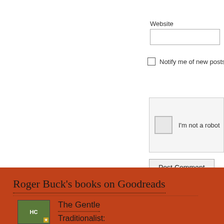Website
[Figure (screenshot): Website text input field (form element)]
Notify me of new posts
[Figure (screenshot): reCAPTCHA widget with checkbox and 'I'm not a robot' text]
[Figure (screenshot): Post Comment button]
Roger Buck's books on Goodreads
[Figure (photo): Book cover thumbnail with green background and HC label]
The Gentle
Traditionalist: